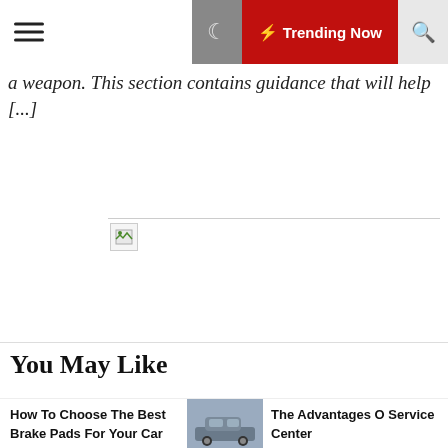Trending Now
a weapon. This section contains guidance that will help [...]
[Figure (other): Broken image placeholder with a small icon and horizontal line]
You May Like
How To Choose The Best Brake Pads For Your Car
[Figure (photo): Photo of a grey car at a service center]
The Advantages O Service Center